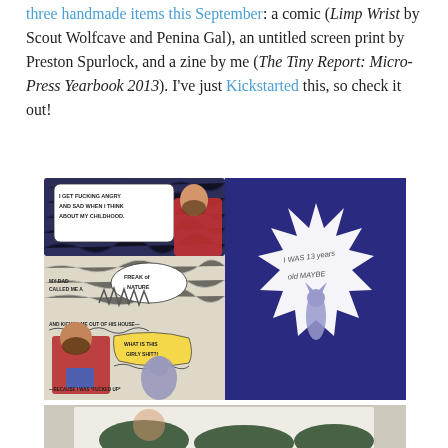three handmade items this September: a comic (Limp Wrist by Scout Wolfcave and Penina Gal), an untitled screen print by Preston Spurlock, and a zine by me (The Tiny Report: Micro-Press Yearbook 2013). I've just Kickstarted this, so check it out!
[Figure (illustration): Two-panel comic page from 'Limp Wrist'. Left panel has dark scribbled background with a bearded man in a red flannel shirt; speech bubbles read 'I GET FUCKING ANGRY AND SAD WHEN I THINK ABOUT MY CHILDHOOD.', 'MY DAD CALLED ME A FREAK OF NATURE', 'AND KICKED ME OUT OF HIS HOUSE—', 'WHAT IS THIS GIRLY SHIT?!', '—BECAUSE I WAS *FUCKED UP*'. Right panel shows dark blue background with a starburst/explosion shape containing a wolf-like character with text 'I WAS 13 years old MAYBE'.]
[Figure (photo): Partial photo showing white fabric/shirt with dark green graphic prints visible at the bottom edge — a screen print by Preston Spurlock.]